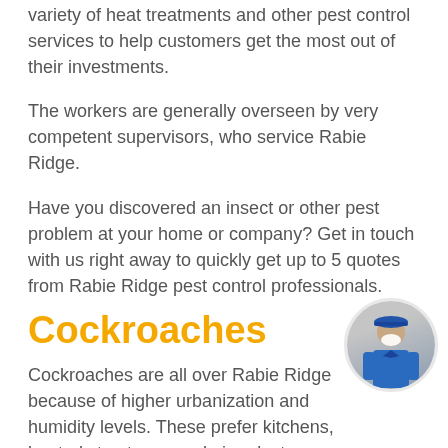variety of heat treatments and other pest control services to help customers get the most out of their investments.
The workers are generally overseen by very competent supervisors, who service Rabie Ridge.
Have you discovered an insect or other pest problem at your home or company? Get in touch with us right away to quickly get up to 5 quotes from Rabie Ridge pest control professionals.
Cockroaches
[Figure (photo): Circular avatar photo of a pest control worker wearing a blue uniform and white face mask]
Cockroaches are all over Rabie Ridge because of higher urbanization and humidity levels. These prefer kitchens, heated structures, and pipe ducts.
Did you know that cockroaches are a major health hazard in